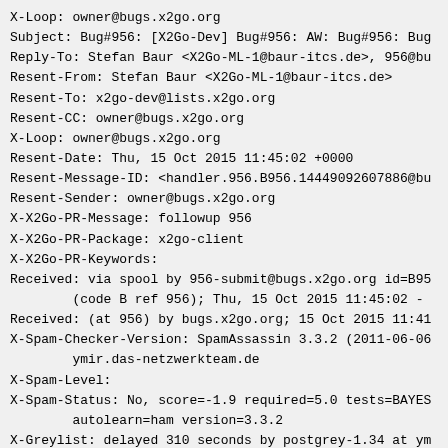X-Loop: owner@bugs.x2go.org
Subject: Bug#956: [X2Go-Dev] Bug#956: AW: Bug#956: Bug
Reply-To: Stefan Baur <X2Go-ML-1@baur-itcs.de>, 956@bu
Resent-From: Stefan Baur <X2Go-ML-1@baur-itcs.de>
Resent-To: x2go-dev@lists.x2go.org
Resent-CC: owner@bugs.x2go.org
X-Loop: owner@bugs.x2go.org
Resent-Date: Thu, 15 Oct 2015 11:45:02 +0000
Resent-Message-ID: <handler.956.B956.14449092607886@bu
Resent-Sender: owner@bugs.x2go.org
X-X2Go-PR-Message: followup 956
X-X2Go-PR-Package: x2go-client
X-X2Go-PR-Keywords:
Received: via spool by 956-submit@bugs.x2go.org id=B95
        (code B ref 956); Thu, 15 Oct 2015 11:45:02 -
Received: (at 956) by bugs.x2go.org; 15 Oct 2015 11:41
X-Spam-Checker-Version: SpamAssassin 3.3.2 (2011-06-06
        ymir.das-netzwerkteam.de
X-Spam-Level:
X-Spam-Status: No, score=-1.9 required=5.0 tests=BAYES
        autolearn=ham version=3.3.2
X-Greylist: delayed 310 seconds by postgrey-1.34 at ym
Received: from mout.kundenserver.de (mout.kundenserver